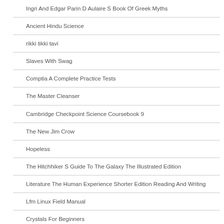Ingri And Edgar Parin D Aulaire S Book Of Greek Myths
Ancient Hindu Science
rikki tikki tavi
Slaves With Swag
Comptia A Complete Practice Tests
The Master Cleanser
Cambridge Checkpoint Science Coursebook 9
The New Jim Crow
Hopeless
The Hitchhiker S Guide To The Galaxy The Illustrated Edition
Literature The Human Experience Shorter Edition Reading And Writing
Lfm Linux Field Manual
Crystals For Beginners